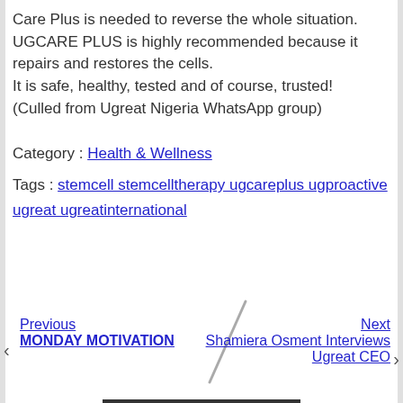Care Plus is needed to reverse the whole situation.
UGCARE PLUS is highly recommended because it repairs and restores the cells.
It is safe, healthy, tested and of course, trusted!
(Culled from Ugreat Nigeria WhatsApp group)
Category : Health & Wellness
Tags : stemcell stemcelltherapy ugcareplus ugproactive ugreat ugreatinternational
Previous
MONDAY MOTIVATION
Next
Shamiera Osment Interviews Ugreat CEO